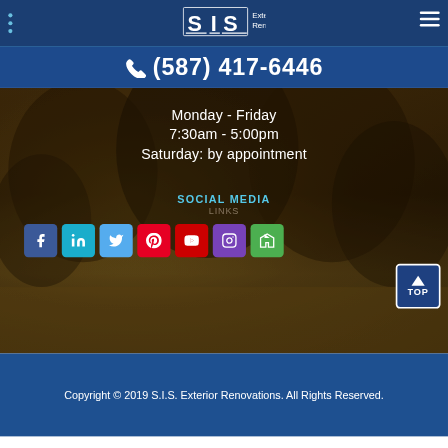SIS Exterior Renovations
(587) 417-6446
Monday - Friday
7:30am - 5:00pm
Saturday: by appointment
SOCIAL MEDIA
[Figure (infographic): Row of 7 social media icons: Facebook (blue), LinkedIn (light blue), Twitter (blue), Pinterest (red), YouTube (red), Instagram (purple), Houzz (green)]
[Figure (other): TOP button - arrow up with text TOP]
Copyright © 2019 S.I.S. Exterior Renovations. All Rights Reserved.